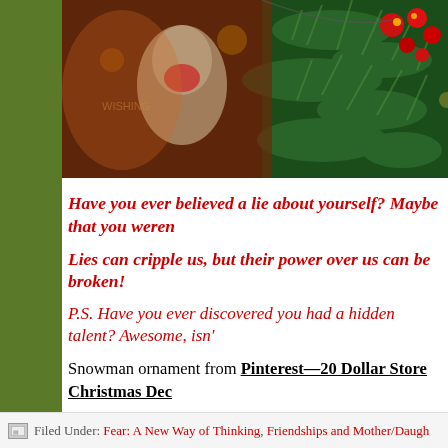[Figure (photo): Christmas-themed photo banner showing pine branches, red ornaments/berries, and what appears to be a sock monkey decoration against a festive background]
Have you ever believed a lie about yourself? Maybe that you weren't...
Lies can cripple us, but their power over us can be broken!
P.S. Have you ever discovered you had a hidden talent? Awesome, isn't...
Snowman ornament from Pinterest—20 Dollar Store Christmas Dec...
Love,
Julie
Filed Under: Fear: A New Way of Thinking, Friendships and Mother/Daugh...